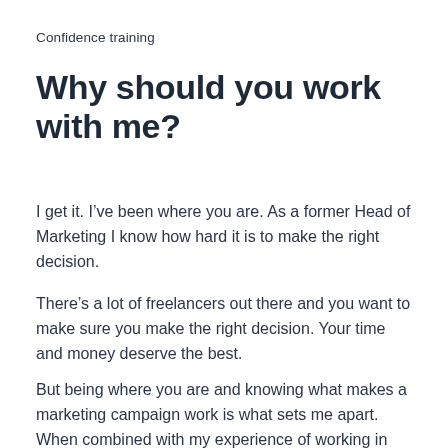Confidence training
Why should you work with me?
I get it. I’ve been where you are. As a former Head of Marketing I know how hard it is to make the right decision.
There’s a lot of freelancers out there and you want to make sure you make the right decision. Your time and money deserve the best.
But being where you are and knowing what makes a marketing campaign work is what sets me apart. When combined with my experience of working in agencies I’m